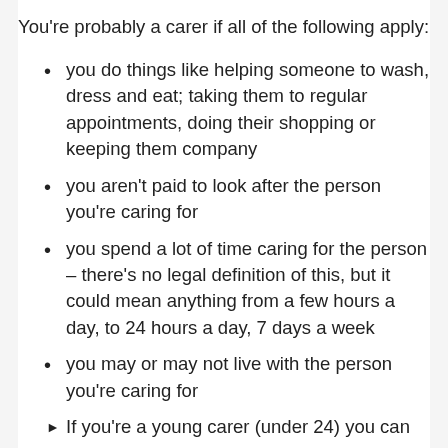You're probably a carer if all of the following apply:
you do things like helping someone to wash, dress and eat; taking them to regular appointments, doing their shopping or keeping them company
you aren't paid to look after the person you're caring for
you spend a lot of time caring for the person – there's no legal definition of this, but it could mean anything from a few hours a day, to 24 hours a day, 7 days a week
you may or may not live with the person you're caring for
If you're a young carer (under 24) you can get